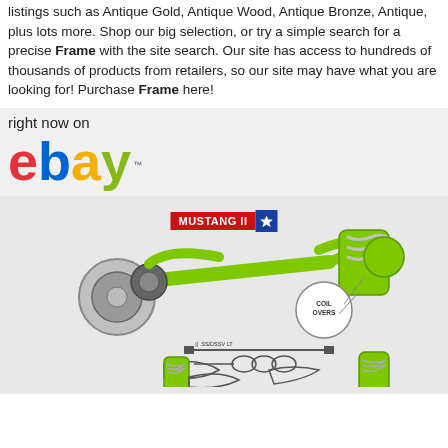listings such as Antique Gold, Antique Wood, Antique Bronze, Antique, plus lots more. Shop our big selection, or try a simple search for a precise Frame with the site search. Our site has access to hundreds of thousands of products from retailers, so our site may have what you are looking for! Purchase Frame here!
right now on
[Figure (logo): eBay logo in red, blue, yellow, and green letters with TM mark]
[Figure (photo): Mustang II front suspension kit with green powder coated cross member, brake rotors, coil-over shocks, and component diagram below. MUSTANG II badge with blue star at top.]